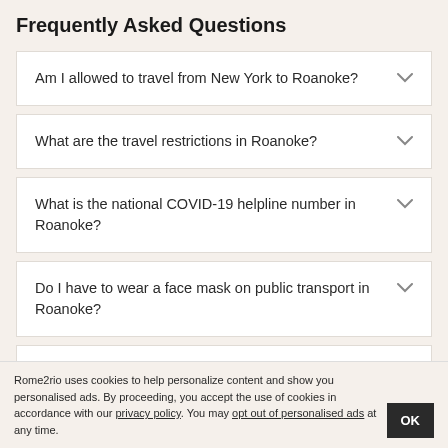Frequently Asked Questions
Am I allowed to travel from New York to Roanoke?
What are the travel restrictions in Roanoke?
What is the national COVID-19 helpline number in Roanoke?
Do I have to wear a face mask on public transport in Roanoke?
Is it compulsory to practice social distancing in Roanoke?
Rome2rio uses cookies to help personalize content and show you personalised ads. By proceeding, you accept the use of cookies in accordance with our privacy policy. You may opt out of personalised ads at any time.